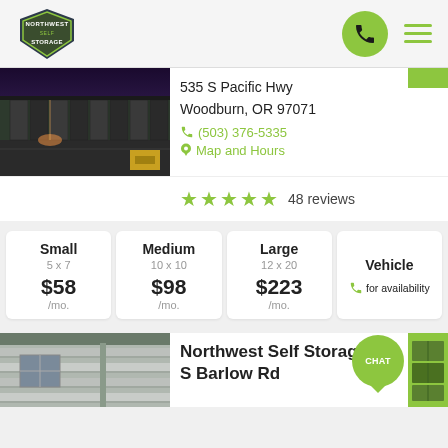[Figure (logo): Northwest Self Storage shield logo in green and dark blue]
[Figure (illustration): Green phone icon in circle and hamburger menu icon]
[Figure (photo): Exterior photo of storage facility at dusk/night with illuminated units]
535 S Pacific Hwy
Woodburn, OR 97071
(503) 376-5335
Map and Hours
★★★★★ 48 reviews
| Small | Medium | Large | Vehicle |
| --- | --- | --- | --- |
| 5 x 7 | 10 x 10 | 12 x 20 |  |
| $58 | $98 | $223 | ☎ for availability |
| /mo. | /mo. | /mo. |  |
[Figure (photo): Exterior of building with gray siding and window at bottom of page]
Northwest Self Storage | S Barlow Rd
[Figure (illustration): Green chat bubble icon with CHAT text]